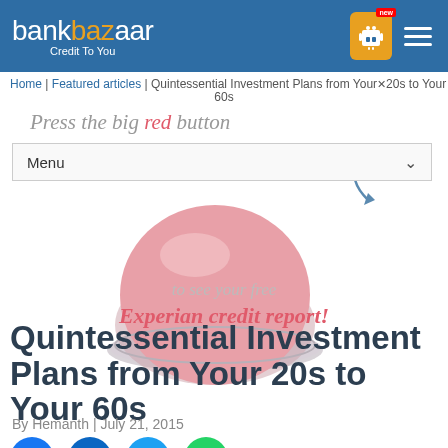bankbazaar Credit To You
Home | Featured articles | Quintessential Investment Plans from Your 20s to Your 60s
[Figure (illustration): Pink dome-shaped big red button with curved arrow pointing to it, overlaid with text 'Press the big red button' and 'to see your free Experian credit report!' and a Menu dropdown bar]
Quintessential Investment Plans from Your 20s to Your 60s
By Hemanth | July 21, 2015
[Figure (illustration): Social share icons: Facebook, LinkedIn, Twitter, WhatsApp]